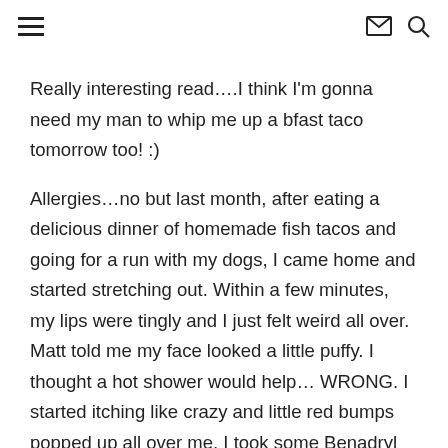☰  ✉  🔍
Really interesting read….I think I'm gonna need my man to whip me up a bfast taco tomorrow too! :)
Allergies…no but last month, after eating a delicious dinner of homemade fish tacos and going for a run with my dogs, I came home and started stretching out. Within a few minutes, my lips were tingly and I just felt weird all over. Matt told me my face looked a little puffy. I thought a hot shower would help… WRONG. I started itching like crazy and little red bumps popped up all over me. I took some Benadryl and was back to normal in 45 minutes (and totally passed out within 60 minutes). It's never happened to